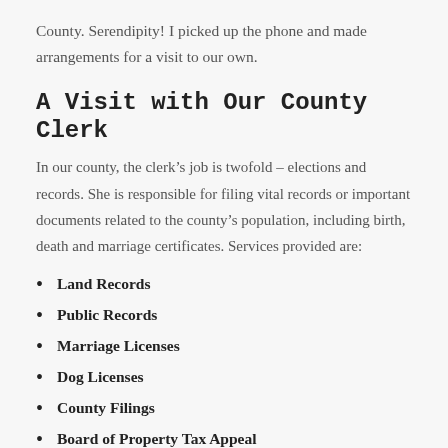County. Serendipity! I picked up the phone and made arrangements for a visit to our own.
A Visit with Our County Clerk
In our county, the clerk’s job is twofold – elections and records. She is responsible for filing vital records or important documents related to the county’s population, including birth, death and marriage certificates. Services provided are:
Land Records
Public Records
Marriage Licenses
Dog Licenses
County Filings
Board of Property Tax Appeal